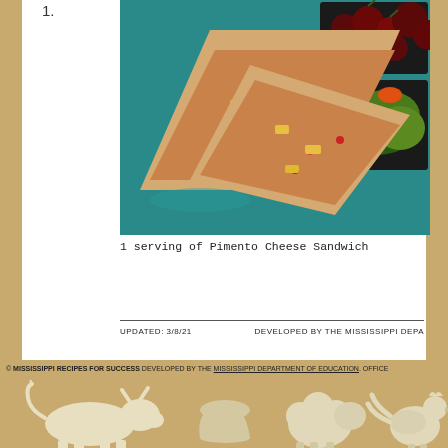1.
[Figure (photo): A pimento cheese sandwich cut in triangles on a teal cafeteria tray with cherries and a salad in containers]
1 serving of Pimento Cheese Sandwich
UPDATED: 3/8/21    DEVELOPED BY THE MISSISSIPPI DEPA...
© MISSISSIPPI RECIPES FOR SUCCESS DEVELOPED BY THE MISSISSIPPI DEPARTMENT OF EDUCATION. OFFICE...
[Figure (illustration): Silhouettes of farm animals (cow, bowl, sheep, chicken) on tan background]